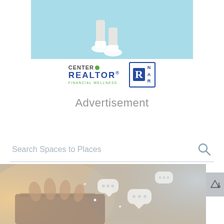[Figure (photo): Advertisement banner image with light blue background showing person's legs running or walking, wearing white sneakers]
[Figure (logo): Center for Realtor Financial Wellness logo (green and blue) next to NAR logo (blue bordered box with R and NAR letters)]
Advertisement
Search Spaces to Places
[Figure (photo): Photo of hands typing on laptop keyboard with floating chat bubble icons overlaid in white, warm bokeh background]